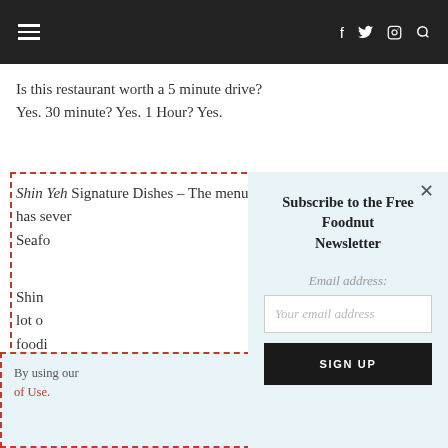≡   f  🐦  ⊡  🔍
Is this restaurant worth a 5 minute drive? Yes. 30 minute? Yes. 1 Hour? Yes.
Shin Yeh Signature Dishes – The menu has several... Seafood...
Shin [Yeh...] lot of... foodi... and a...
By using our... of Use.
Subscribe to the Free Foodnut Newsletter
Email address:
Your email address
SIGN UP